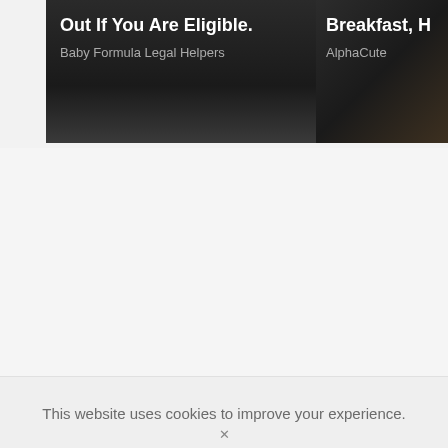[Figure (screenshot): Left ad card with dark background showing text 'Out If You Are Eligible.' and subtitle 'Baby Formula Legal Helpers']
[Figure (screenshot): Right ad card partially visible with dark/food background showing text 'Breakfast, H' and subtitle 'AlphaCute']
This website uses cookies to improve your experience.